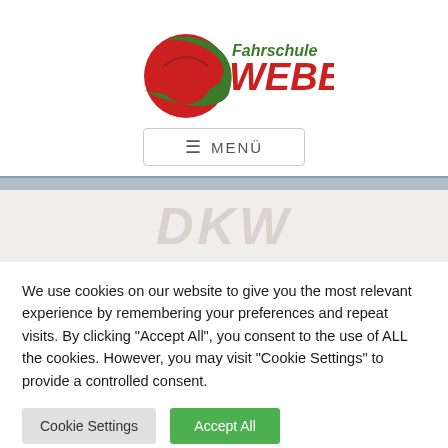[Figure (logo): Fahrschule Weber logo with red circle and green swoosh graphic, text 'Fahrschule' in green and 'WEBER' in red bold italic]
≡  MENÜ
[Figure (screenshot): Partial content area with light beige background showing watermark-style italic text 'DKW' or similar in grey]
We use cookies on our website to give you the most relevant experience by remembering your preferences and repeat visits. By clicking "Accept All", you consent to the use of ALL the cookies. However, you may visit "Cookie Settings" to provide a controlled consent.
Cookie Settings
Accept All